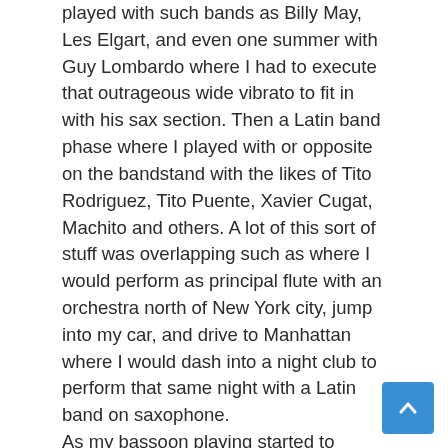played with such bands as Billy May, Les Elgart, and even one summer with Guy Lombardo where I had to execute that outrageous wide vibrato to fit in with his sax section. Then a Latin band phase where I played with or opposite on the bandstand with the likes of Tito Rodriguez, Tito Puente, Xavier Cugat, Machito and others. A lot of this sort of stuff was overlapping such as where I would perform as principal flute with an orchestra north of New York city, jump into my car, and drive to Manhattan where I would dash into a night club to perform that same night with a Latin band on saxophone.
As my bassoon playing started to improve, I kept on taking lessons with those teachers I referred to earlier and was granted a scholarship to Tanglewood. I also spent four seasons on scholarship with the National Orchestral Association under Leon Barzin. And then started to perform on bassoon and contra-bassoon with a lot of orchestras ensembles. So as you can see, I wound up for a variety of reasons doing a lot of different things in music, including and